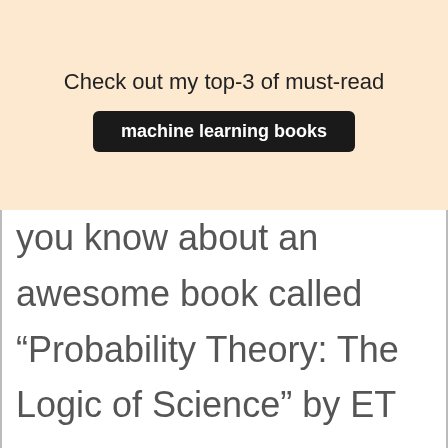Check out my top-3 of must-read
machine learning books
you know about an awesome book called “Probability Theory: The Logic of Science” by ET